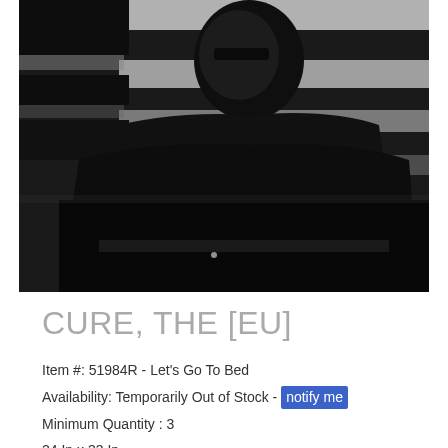[Figure (photo): Black and white photograph of a person in dark clothing against a background with horizontal light streaks/blinds, moody atmospheric shot]
CURE, THE [EU]
Item #: 51984R - Let's Go To Bed
Availability: Temporarily Out of Stock - notify me
Minimum Quantity : 3
24 In x 33 In